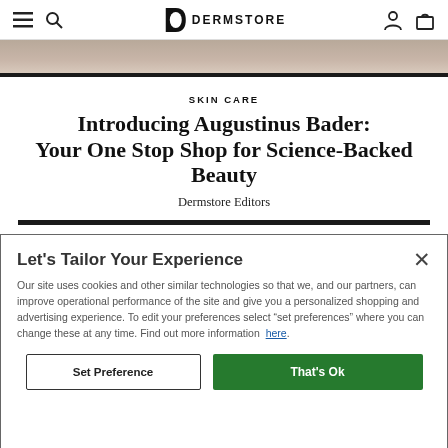DERMSTORE — navigation bar with hamburger, search, logo, account, and bag icons
[Figure (photo): Partial photo strip showing a person's face at the top of the article area]
SKIN CARE
Introducing Augustinus Bader: Your One Stop Shop for Science-Backed Beauty
Dermstore Editors
Let's Tailor Your Experience
Our site uses cookies and other similar technologies so that we, and our partners, can improve operational performance of the site and give you a personalized shopping and advertising experience. To edit your preferences select "set preferences" where you can change these at any time. Find out more information here.